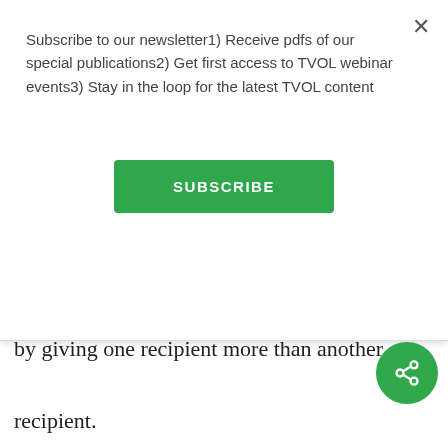Subscribe to our newsletter1) Receive pdfs of our special publications2) Get first access to TVOL webinar events3) Stay in the loop for the latest TVOL content
SUBSCRIBE
their own, rather than to share unequally by giving one recipient more than another recipient.
In our next set of studies, we investigated if children's behavior in our previous experiments was driven by them wanting to be fair or merely appear fair to others. We found that, when children knew that